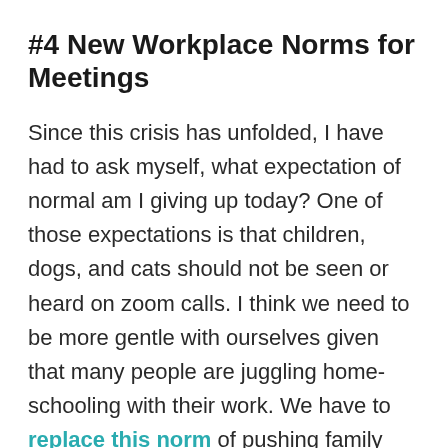#4 New Workplace Norms for Meetings
Since this crisis has unfolded, I have had to ask myself, what expectation of normal am I giving up today? One of those expectations is that children, dogs, and cats should not be seen or heard on zoom calls. I think we need to be more gentle with ourselves given that many people are juggling home-schooling with their work. We have to replace this norm of pushing family away from the camera to this norm of welcoming them